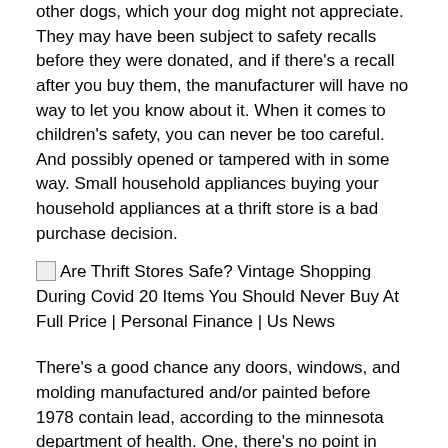other dogs, which your dog might not appreciate. They may have been subject to safety recalls before they were donated, and if there's a recall after you buy them, the manufacturer will have no way to let you know about it. When it comes to children's safety, you can never be too careful. And possibly opened or tampered with in some way. Small household appliances buying your household appliances at a thrift store is a bad purchase decision.
[Figure (photo): Broken image placeholder followed by text: Are Thrift Stores Safe? Vintage Shopping During Covid 20 Items You Should Never Buy At Full Price | Personal Finance | Us News]
There's a good chance any doors, windows, and molding manufactured and/or painted before 1978 contain lead, according to the minnesota department of health. One, there's no point in buying new clothes for your toddler when they're going to grow out. Picture frames rarely get much wear and tear. If you have your heart set on a distressed window frame at your local thrift shop, ask to do a lead paint test with a quick kit before taking it home. Things you should never buy at a thrift shop. There was such a big response to my post on the five things you should always buy from